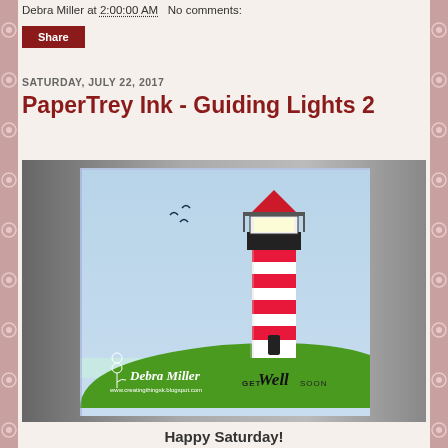Debra Miller at 2:00:00 AM   No comments:
Share
SATURDAY, JULY 22, 2017
PaperTrey Ink - Guiding Lights 2
[Figure (photo): A handmade greeting card featuring a red and white striped lighthouse on a green hill against a light blue sky, with birds flying above. The card reads 'GET Well SOON' with a Debra Miller watermark and blog URL.]
Happy Saturday!